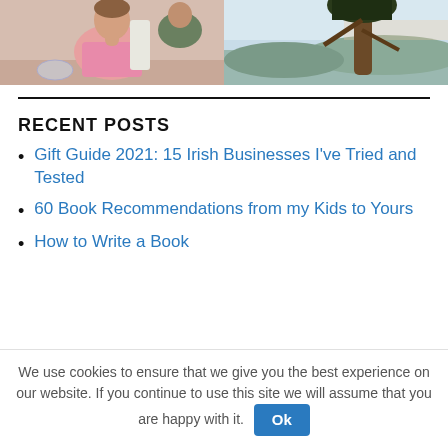[Figure (photo): Two side-by-side photos: left shows a woman in a pink tank top at a table, right shows a tree with sky and hills in background.]
RECENT POSTS
Gift Guide 2021: 15 Irish Businesses I've Tried and Tested
60 Book Recommendations from my Kids to Yours
How to Write a Book
We use cookies to ensure that we give you the best experience on our website. If you continue to use this site we will assume that you are happy with it. Ok